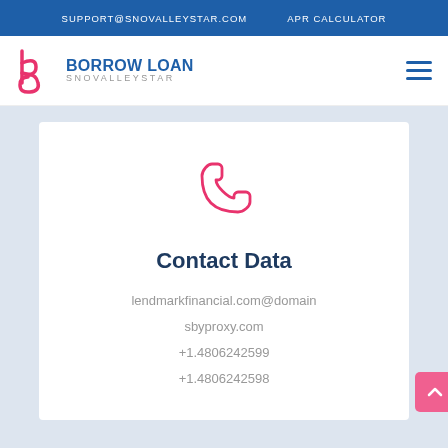SUPPORT@SNOVALLEYSTAR.COM    APR CALCULATOR
[Figure (logo): Borrow Loan Snovalleystar logo with stylized b/p letter mark in pink/blue]
[Figure (illustration): Pink telephone/phone handset icon]
Contact Data
lendmarkfinancial.com@domain
sbyproxy.com
+1.4806242599
+1.4806242598